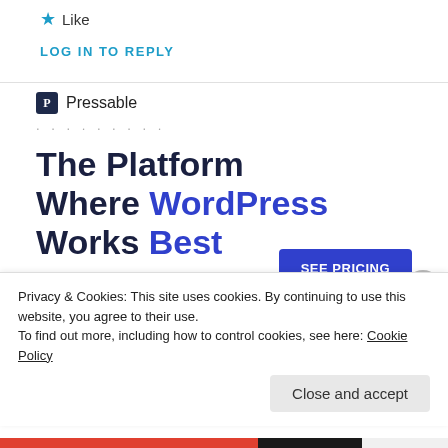★ Like
LOG IN TO REPLY
[Figure (logo): Pressable logo with icon and dotted separator, followed by headline 'The Platform Where WordPress Works Best' and a SEE PRICING button]
Privacy & Cookies: This site uses cookies. By continuing to use this website, you agree to their use.
To find out more, including how to control cookies, see here: Cookie Policy
Close and accept